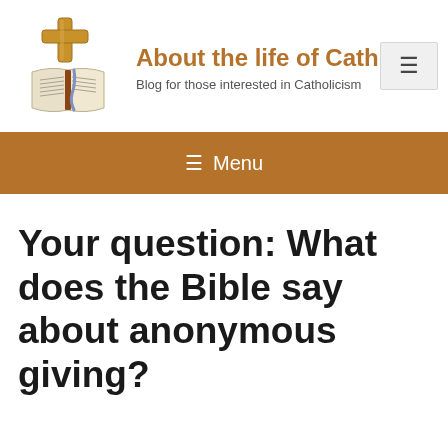[Figure (illustration): Illustrated logo of a wooden cross above an open Bible with a blue ribbon bookmark]
About the life of Cath…
Blog for those interested in Catholicism
[Figure (other): Hamburger menu button (three horizontal lines) in a light grey box]
≡ Menu
Your question: What does the Bible say about anonymous giving?